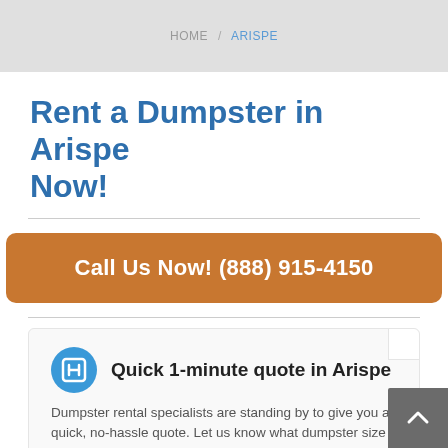HOME / ARISPE
Rent a Dumpster in Arispe Now!
Call Us Now! (888) 915-4150
Quick 1-minute quote in Arispe
Dumpster rental specialists are standing by to give you a quick, no-hassle quote. Let us know what dumpster size